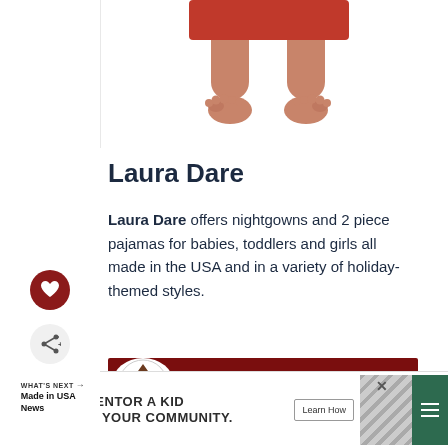[Figure (photo): Baby/toddler feet and legs in a red holiday outfit, standing position, cropped at torso]
Laura Dare
Laura Dare offers nightgowns and 2 piece pajamas for babies, toddlers and girls all made in the USA and in a variety of holiday-themed styles.
[Figure (other): Dark red button with white text 'CHECK IT OUT' and USA Love List logo circle on the left]
[Figure (other): Heart icon button (dark red circle with white heart)]
[Figure (other): Share icon button (light grey circle with share symbol)]
WHAT'S NEXT → Made in USA News
[Figure (other): Advertisement banner: Big Brothers Big Sisters - MENTOR A KID IN YOUR COMMUNITY. Learn How - with decorative chevron pattern and menu icon]